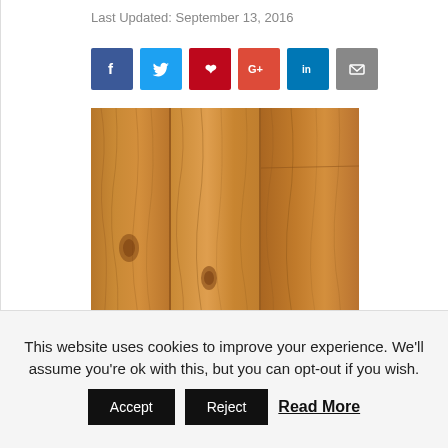Last Updated: September 13, 2016
[Figure (infographic): Social media share buttons: Facebook (blue), Twitter (light blue), Pinterest (red), Google+ (orange-red), LinkedIn (blue), Email (gray)]
[Figure (photo): Close-up photo of wood flooring showing grain and texture in warm golden-brown tones]
This website uses cookies to improve your experience. We'll assume you're ok with this, but you can opt-out if you wish.
Accept   Reject   Read More